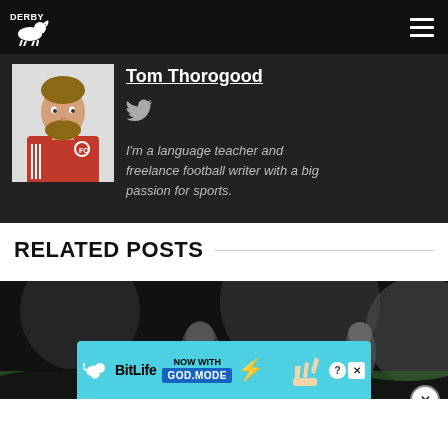Derby (logo) | hamburger menu
[Figure (photo): Author photo of Tom Thorogood, a man with beard wearing red Bayern Munich jacket]
Tom Thorogood
[Figure (illustration): Twitter bird icon]
I'm a language teacher and freelance football writer with a big passion for sports.
RELATED POSTS
[Figure (photo): Dark background related post image showing a soccer/football scene]
[Figure (screenshot): BitLife advertisement banner - NOW WITH GOD MODE with lightning bolt graphic]